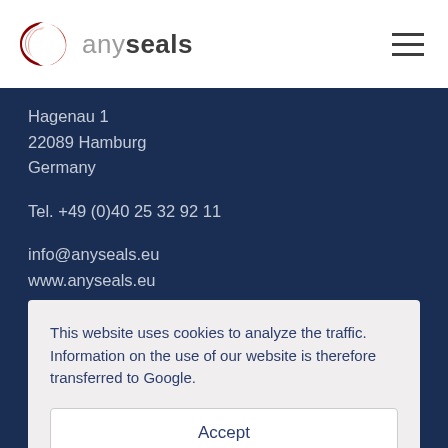anyseals
Hagenau 1
22089 Hamburg
Germany
Tel. +49 (0)40 25 32 92 11
info@anyseals.eu
www.anyseals.eu
anyseals NV
Office Taiwan
This website uses cookies to analyze the traffic. Information on the use of our website is therefore transferred to Google.
Accept
www.anyseals.tw